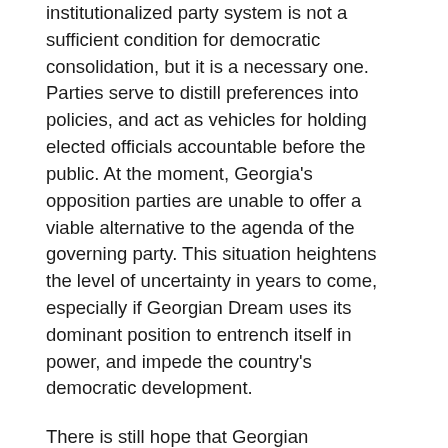institutionalized party system is not a sufficient condition for democratic consolidation, but it is a necessary one. Parties serve to distill preferences into policies, and act as vehicles for holding elected officials accountable before the public. At the moment, Georgia's opposition parties are unable to offer a viable alternative to the agenda of the governing party. This situation heightens the level of uncertainty in years to come, especially if Georgian Dream uses its dominant position to entrench itself in power, and impede the country's democratic development.
There is still hope that Georgian democracy could emerge strong, however. The split has created an opening for a new opposition force to emerge. According to the political cycle sketched out above, Georgian voters are willing to put up with a ruling party for roughly eight years at a time, meaning that Georgian Dream's current term may very well be its last. By 2020, voters will be calling for a strong, unified opposition force to step forward and challenge the